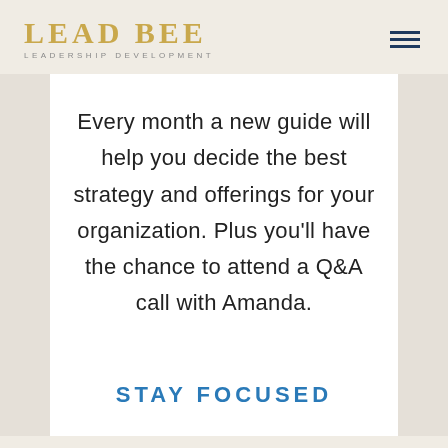LEAD BEE LEADERSHIP DEVELOPMENT
Every month a new guide will help you decide the best strategy and offerings for your organization. Plus you'll have the chance to attend a Q&A call with Amanda.
STAY FOCUSED